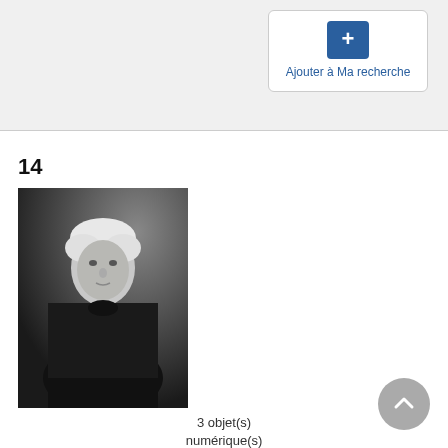[Figure (other): Button labeled 'Ajouter à Ma recherche' with a blue plus icon]
14
[Figure (photo): Black and white portrait photograph of Rosemary Brown, an elderly woman with white hair, wearing dark clothing, hands clasped]
3 objet(s) numérique(s)
Rosemary Brown
Date : 25 September 1990
Référence :